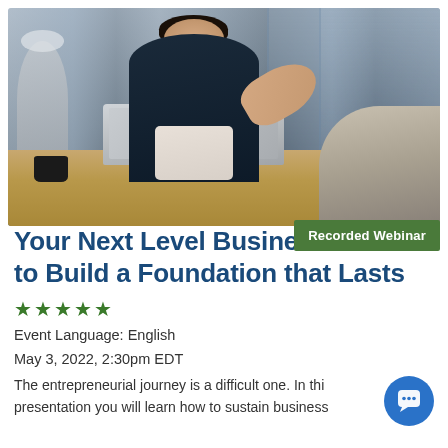[Figure (photo): A professional woman in a dark blazer smiling and gesturing with one hand, sitting across from another person at a table with a laptop, in a modern office or cafe setting with glass windows in the background.]
Recorded Webinar
Your Next Level Business - How to Build a Foundation that Lasts
★★★★★
Event Language: English
May 3, 2022, 2:30pm EDT
The entrepreneurial journey is a difficult one. In this presentation you will learn how to sustain business